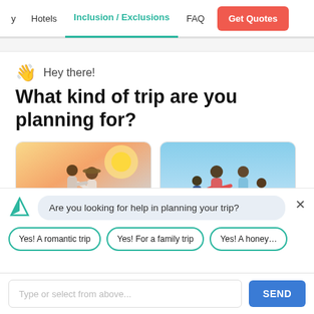Hotels | Inclusion / Exclusions | FAQ | Get Quotes
👋 Hey there!
What kind of trip are you planning for?
[Figure (photo): Couple at sunset, romantic travel]
[Figure (photo): Family running outdoors, blue sky]
Are you looking for help in planning your trip?
Yes! A romantic trip
Yes! For a family trip
Yes! A honey…
Type or select from above...